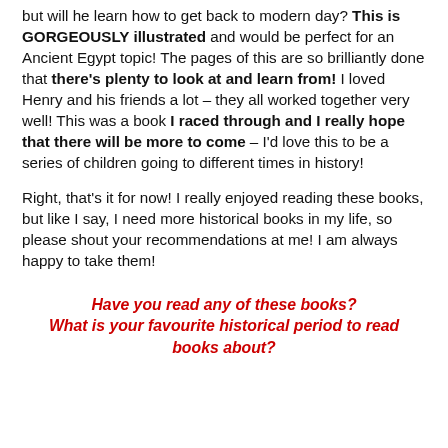but will he learn how to get back to modern day? This is GORGEOUSLY illustrated and would be perfect for an Ancient Egypt topic! The pages of this are so brilliantly done that there's plenty to look at and learn from! I loved Henry and his friends a lot – they all worked together very well! This was a book I raced through and I really hope that there will be more to come – I'd love this to be a series of children going to different times in history!
Right, that's it for now! I really enjoyed reading these books, but like I say, I need more historical books in my life, so please shout your recommendations at me! I am always happy to take them!
Have you read any of these books? What is your favourite historical period to read books about?